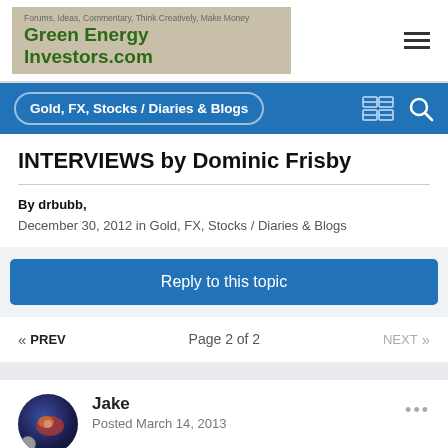Green Energy Investors.com — Forums, Ideas, Commentary, Think Creatively, Make Money
Gold, FX, Stocks / Diaries & Blogs
INTERVIEWS by Dominic Frisby
By drbubb,
December 30, 2012 in Gold, FX, Stocks / Diaries & Blogs
Reply to this topic
« PREV   Page 2 of 2   NEXT »
Jake
Posted March 14, 2013